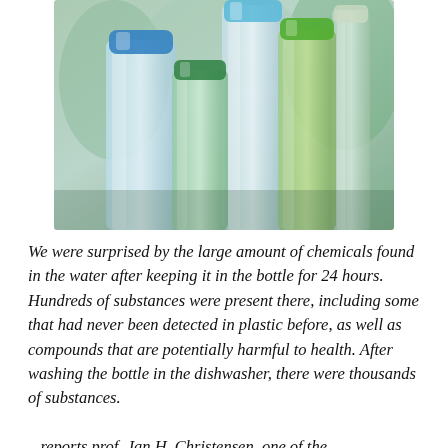[Figure (photo): Photograph of multiple plastic water bottles of various sizes and colors (blue, green, clear/transparent) clustered together, shot from a low angle against a blurred background.]
We were surprised by the large amount of chemicals found in the water after keeping it in the bottle for 24 hours. Hundreds of substances were present there, including some that had never been detected in plastic before, as well as compounds that are potentially harmful to health. After washing the bottle in the dishwasher, there were thousands of substances.
– reports prof. Jan H. Christensen, one of the